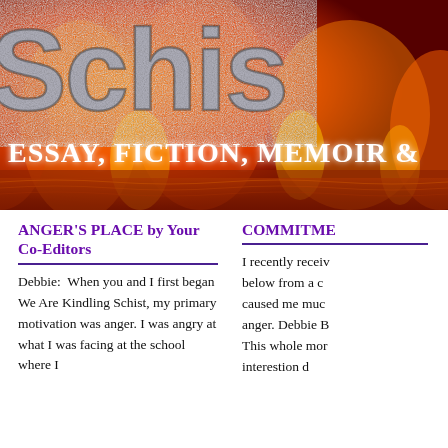[Figure (illustration): Banner image with fiery red/orange background with large gray stone-textured text reading 'Schis' (partially cropped) and white italic text below reading 'ESSAY, FICTION, MEMOIR &' (partially cropped). Reflective water effect at the bottom of the banner.]
ANGER'S PLACE by Your Co-Editors
Debbie:  When you and I first began We Are Kindling Schist, my primary motivation was anger. I was angry at what I was facing at the school where I
COMMITME
I recently receiv below from a c caused me muc anger. Debbie B This whole mor interestion d